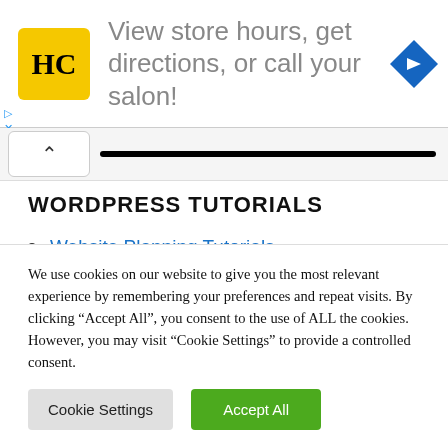[Figure (screenshot): Advertisement banner with HC salon logo (yellow square with HC in black), text 'View store hours, get directions, or call your salon!', and a blue diamond navigation icon on the right. Small blue ad indicator icons on the left.]
WORDPRESS TUTORIALS
Website Planning Tutorials
WordPress Overview Tutorials
We use cookies on our website to give you the most relevant experience by remembering your preferences and repeat visits. By clicking "Accept All", you consent to the use of ALL the cookies. However, you may visit "Cookie Settings" to provide a controlled consent.
Cookie Settings | Accept All